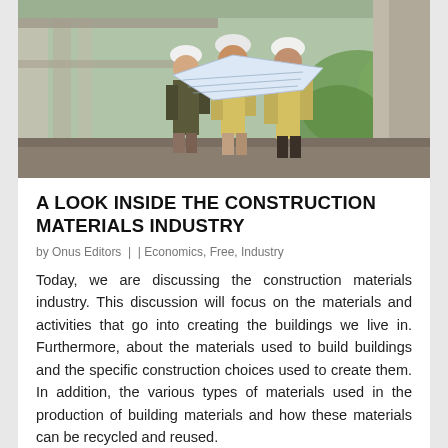[Figure (photo): Three construction workers wearing yellow safety vests and white hard hats reviewing blueprints at a construction site with concrete columns and structure in background]
A LOOK INSIDE THE CONSTRUCTION MATERIALS INDUSTRY
by Onus Editors | | Economics, Free, Industry
Today, we are discussing the construction materials industry. This discussion will focus on the materials and activities that go into creating the buildings we live in. Furthermore, about the materials used to build buildings and the specific construction choices used to create them. In addition, the various types of materials used in the production of building materials and how these materials can be recycled and reused.